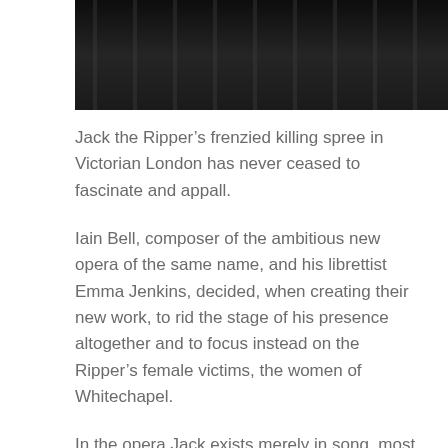[Figure (photo): Dark, moody nighttime photograph showing vertical tree trunks or similar dark vertical structures against a very dark background.]
Jack the Ripper’s frenzied killing spree in Victorian London has never ceased to fascinate and appall.
Iain Bell, composer of the ambitious new opera of the same name, and his librettist Emma Jenkins, decided, when creating their new work, to rid the stage of his presence altogether and to focus instead on the Ripper’s female victims, the women of Whitechapel.
In the opera Jack exists merely in song, most memorably in the scene with the Pathologist, when Ripper’s grisly acts are revealed in minute detail.
The next chapter...